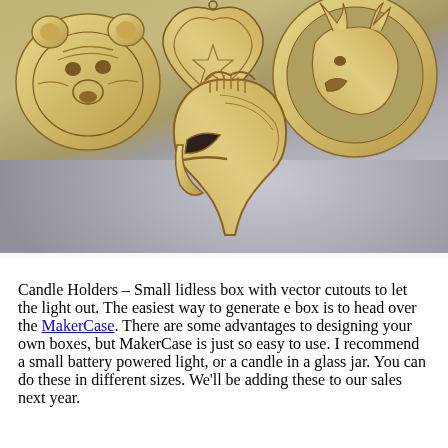[Figure (photo): Photo of laser-cut wooden ornaments on a gray surface: a bear head (top-left), a heart/shield shape (top-center), a wolf or deer head in a circle (top-right), and a Spartan helmet outline (center).]
Candle Holders – Small lidless box with vector cutouts to let the light out. The easiest way to generate e box is to head over the MakerCase. There are some advantages to designing your own boxes, but MakerCase is just so easy to use. I recommend a small battery powered light, or a candle in a glass jar. You can do these in different sizes. We'll be adding these to our sales next year.